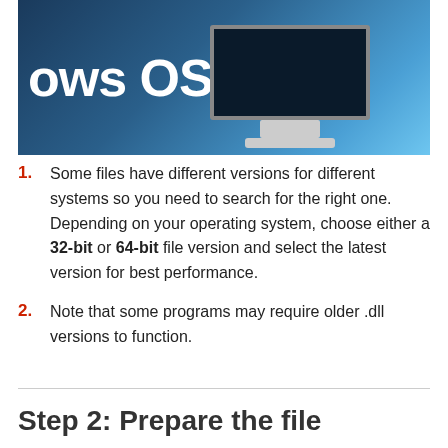[Figure (screenshot): Screenshot of a Windows OS tutorial showing a computer monitor on a dark blue background with the text 'ows OS' visible (partial 'Windows OS')]
Some files have different versions for different systems so you need to search for the right one. Depending on your operating system, choose either a 32-bit or 64-bit file version and select the latest version for best performance.
Note that some programs may require older .dll versions to function.
Step 2: Prepare the file